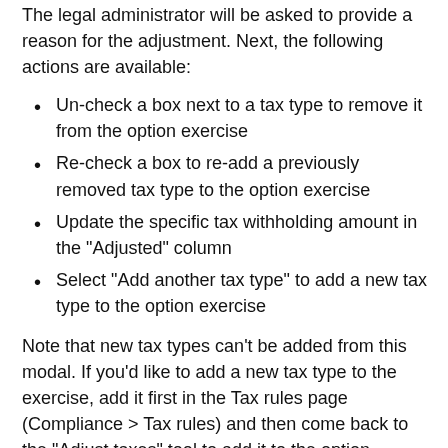The legal administrator will be asked to provide a reason for the adjustment. Next, the following actions are available:
Un-check a box next to a tax type to remove it from the option exercise
Re-check a box to re-add a previously removed tax type to the option exercise
Update the specific tax withholding amount in the "Adjusted" column
Select "Add another tax type" to add a new tax type to the option exercise
Note that new tax types can't be added from this modal. If you'd like to add a new tax type to the exercise, add it first in the Tax rules page (Compliance > Tax rules) and then come back to the "Adjust taxes" tool to add it to the option